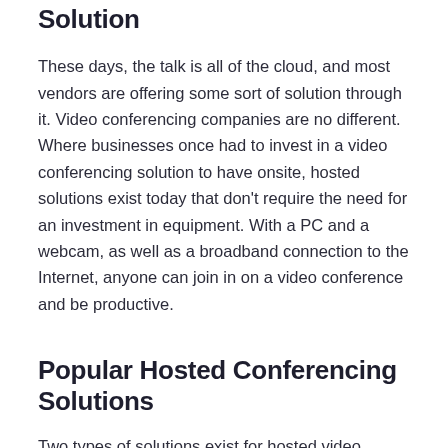Solution
These days, the talk is all of the cloud, and most vendors are offering some sort of solution through it. Video conferencing companies are no different. Where businesses once had to invest in a video conferencing solution to have onsite, hosted solutions exist today that don't require the need for an investment in equipment. With a PC and a webcam, as well as a broadband connection to the Internet, anyone can join in on a video conference and be productive.
Popular Hosted Conferencing Solutions
Two types of solutions exist for hosted video conferencing. One solution involves no installation of